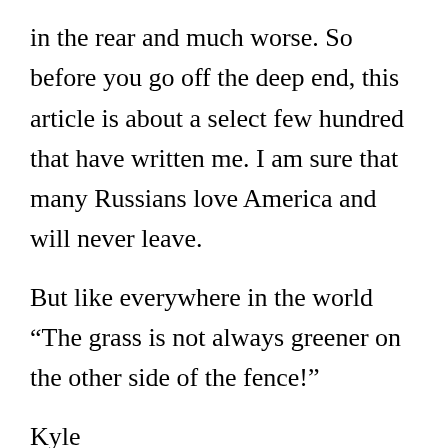in the rear and much worse. So before you go off the deep end, this article is about a select few hundred that have written me. I am sure that many Russians love America and will never leave.
But like everywhere in the world “The grass is not always greener on the other side of the fence!”
Kyle
PS: Little tidbit of information – I have